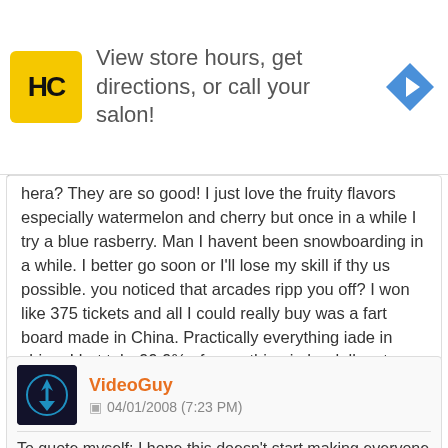[Figure (other): Advertisement banner: HC (Hair Club) logo with yellow background, text 'View store hours, get directions, or call your salon!' and blue navigation arrow icon]
hera? They are so good! I just love the fruity flavors especially watermelon and cherry but once in a while I try a blue rasberry. Man I havent been snowboarding in a while. I better go soon or I'll lose my skill if thy us possible. you noticed that arcades ripp you off? I won like 375 tickets and all I could really buy was a fart board made in China. Practically everything iade in china. I bet tahr 99.9% of everything in he dollar store ismade in hina. I really lovemy cat, even though she wouldnt fit in a car tunnel.
Log in to Reply
VideoGuy
04/01/2008 (7:23 PM)
To quote myself: I hope this doesn't start making everyone